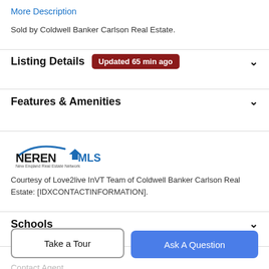More Description
Sold by Coldwell Banker Carlson Real Estate.
Listing Details  Updated 65 min ago
Features & Amenities
[Figure (logo): NEREN MLS - New England Real Estate Network logo]
Courtesy of Love2live InVT Team of Coldwell Banker Carlson Real Estate: [IDXCONTACTINFORMATION].
Schools
Payment Calculator
Take a Tour
Ask A Question
Contact Agent